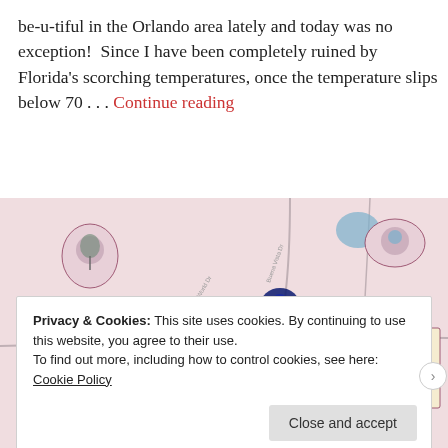be-u-tiful in the Orlando area lately and today was no exception! Since I have been completely ruined by Florida's scorching temperatures, once the temperature slips below 70 . . . Continue reading
[Figure (map): Disney World area map showing Disney's Animal Kingdom Theme Park, Blizzard Beach Water Park, and Disney's Hollywood Studios with road network on a pink/mauve background]
Privacy & Cookies: This site uses cookies. By continuing to use this website, you agree to their use. To find out more, including how to control cookies, see here: Cookie Policy